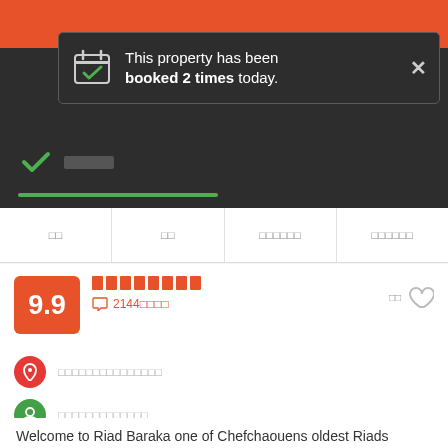[Figure (screenshot): Hotel booking website screenshot showing a notification popup saying 'This property has been booked 2 times today.' with a calendar icon and close button, over a dark background with orange header strip and a green checkmark with progress bar below.]
This property has been booked 2 times today.
9.9
2144□□□□
□□□□□□□□□□□□□
□□□□□□□□□□□□
□□□□□□□□□□
Welcome to Riad Baraka one of Chefchaouens oldest Riads stylishly Renovated with a blend of original Al -Andalous architecture and contemporary African Art . Centrally located 200 meters from the Chaouens main Plaza with its Kazbah and Restaurants and a 150